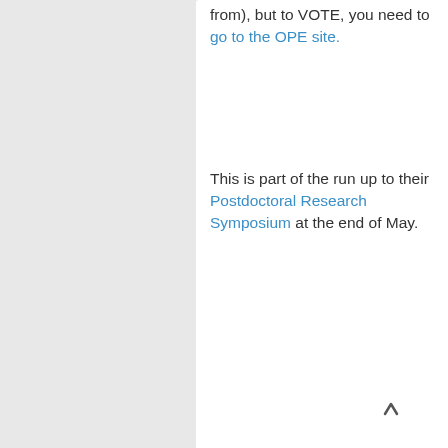from), but to VOTE, you need to go to the OPE site.
This is part of the run up to their Postdoctoral Research Symposium at the end of May.
[Figure (photo): Fluorescence microscopy image of tissue cross-section with blue, green, and magenta/pink staining on dark background, visible in top-right corner of page]
[Figure (photo): Fluorescence microscopy image showing bright green branching structures (likely blood vessels or nerves) against magenta/pink tissue on black background, partially visible in bottom portion of page]
FEEDBACK